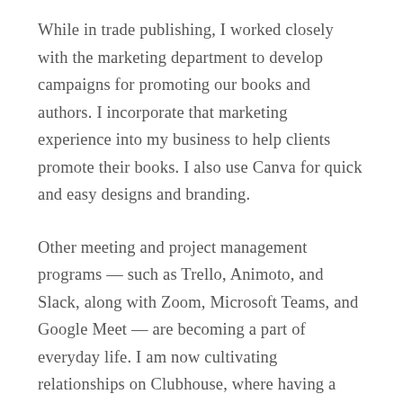While in trade publishing, I worked closely with the marketing department to develop campaigns for promoting our books and authors. I incorporate that marketing experience into my business to help clients promote their books. I also use Canva for quick and easy designs and branding.
Other meeting and project management programs — such as Trello, Animoto, and Slack, along with Zoom, Microsoft Teams, and Google Meet — are becoming a part of everyday life. I am now cultivating relationships on Clubhouse, where having a great speaking voice and being able to make your point clearly and succinctly are most helpful.